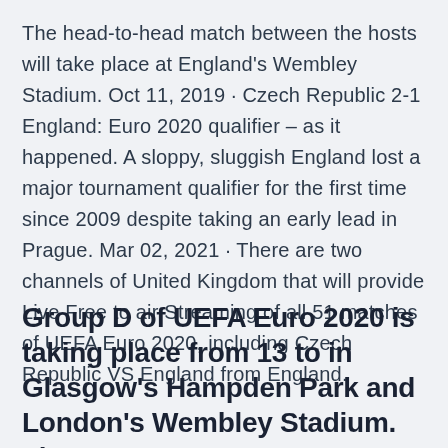The head-to-head match between the hosts will take place at England's Wembley Stadium. Oct 11, 2019 · Czech Republic 2-1 England: Euro 2020 qualifier – as it happened. A sloppy, sluggish England lost a major tournament qualifier for the first time since 2009 despite taking an early lead in Prague. Mar 02, 2021 · There are two channels of United Kingdom that will provide Live Free to air Streaming of all 51 matches of UEFA Euro 2020, including Czech Republic VS England from England.
Group D of UEFA Euro 2020 is taking place from 13 to in Glasgow's Hampden Park and London's Wembley Stadium. Th…